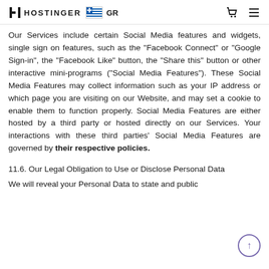HOSTINGER GR
Our Services include certain Social Media features and widgets, single sign on features, such as the "Facebook Connect" or "Google Sign-in", the "Facebook Like" button, the "Share this" button or other interactive mini-programs ("Social Media Features"). These Social Media Features may collect information such as your IP address or which page you are visiting on our Website, and may set a cookie to enable them to function properly. Social Media Features are either hosted by a third party or hosted directly on our Services. Your interactions with these third parties' Social Media Features are governed by their respective policies.
11.6. Our Legal Obligation to Use or Disclose Personal Data
We will reveal your Personal Data to state and public